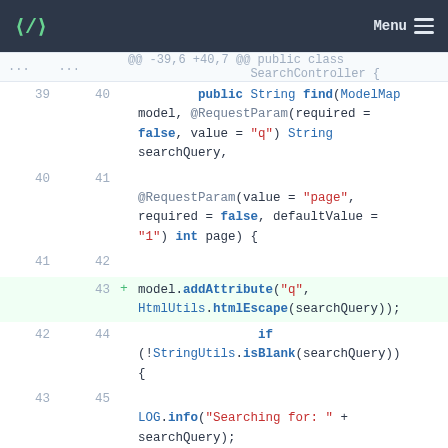Menu
@@ -39,6 +40,7 @@ public class SearchController {
39 40     public String find(ModelMap model, @RequestParam(required = false, value = "q") String searchQuery,
40 41     @RequestParam(value = "page", required = false, defaultValue = "1") int page) {
41 42
43 +  model.addAttribute("q", HtmlUtils.htmlEscape(searchQuery));
42 44         if (!StringUtils.isBlank(searchQuery)) {
43 45     LOG.info("Searching for: " + searchQuery);